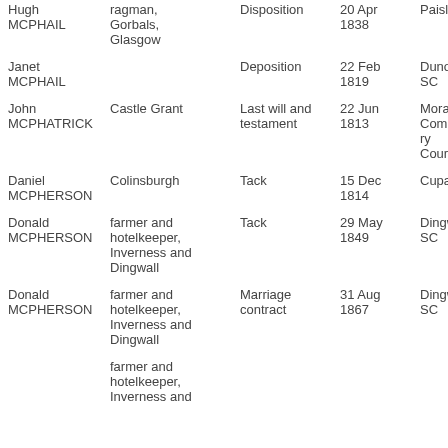| Name | Description | Document type | Date | Court |
| --- | --- | --- | --- | --- |
| Hugh MCPHAIL | ragman, Gorbals, Glasgow | Disposition | 20 Apr 1838 | Paisley SC |
| Janet MCPHAIL |  | Deposition | 22 Feb 1819 | Dunoon SC |
| John MCPHATRICK | Castle Grant | Last will and testament | 22 Jun 1813 | Moray Commissary Court |
| Daniel MCPHERSON | Colinsburgh | Tack | 15 Dec 1814 | Cupar SC |
| Donald MCPHERSON | farmer and hotelkeeper, Inverness and Dingwall | Tack | 29 May 1849 | Dingwall SC |
| Donald MCPHERSON | farmer and hotelkeeper, Inverness and Dingwall | Marriage contract | 31 Aug 1867 | Dingwall SC |
|  | farmer and hotelkeeper, Inverness and |  |  |  |